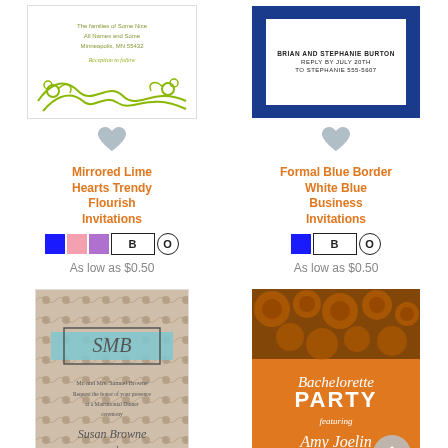[Figure (illustration): Mirrored Lime Hearts Trendy Flourish Invitations product card image - white card with lime green floral flourish decorations]
[Figure (illustration): Formal Blue Border White Blue Business Invitations product card image - navy blue border with white inner card showing RSVP text]
Mirrored Lime Hearts Trendy Flourish Invitations
Formal Blue Border White Blue Business Invitations
[Figure (illustration): Color swatches: blue, pink, purple, BO text buttons for Mirrored Lime Hearts product]
[Figure (illustration): Color swatches: blue, BO text buttons for Formal Blue Border product]
As low as $0.50
As low as $0.50
[Figure (illustration): Damask monogram wedding invitation with SMB monogram and ornate brown pattern, formal text below]
[Figure (illustration): Orange bachelorette party invitation with floral pattern and text: Bachelorette PARTY featuring Amy Joelin, Saturday June 8th, 8:00pm, Venue: Minneapolis, Hosted by Jamie Bell]